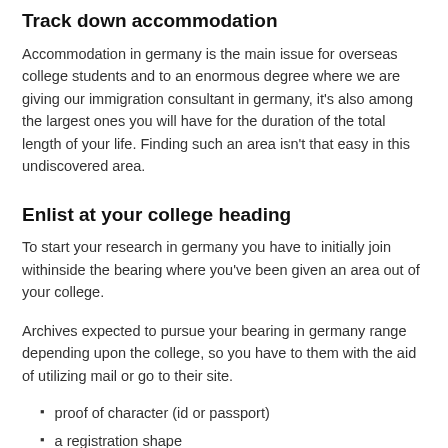Track down accommodation
Accommodation in germany is the main issue for overseas college students and to an enormous degree where we are giving our immigration consultant in germany, it's also among the largest ones you will have for the duration of the total length of your life. Finding such an area isn't that easy in this undiscovered area.
Enlist at your college heading
To start your research in germany you have to initially join withinside the bearing where you've been given an area out of your college.
Archives expected to pursue your bearing in germany range depending upon the college, so you have to them with the aid of utilizing mail or go to their site.
proof of character (id or passport)
a registration shape
your previous degree
letter of admission